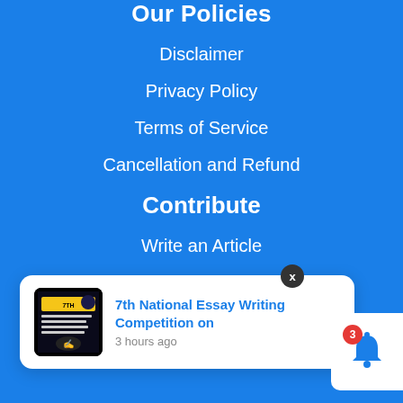Our Policies
Disclaimer
Privacy Policy
Terms of Service
Cancellation and Refund
Contribute
Write an Article
Write Internship Experience
[Figure (screenshot): Notification popup showing '7th National Essay Writing Competition on' with thumbnail image, timestamped '3 hours ago', with an X close button overlay. A bell notification icon with badge '3' appears at the bottom right.]